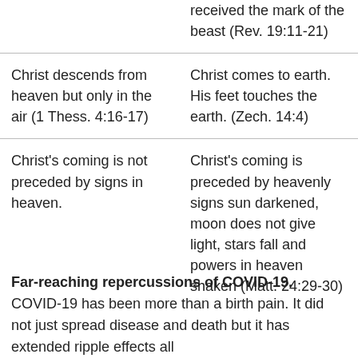|  |  |
| --- | --- |
|  | received the mark of the beast (Rev. 19:11-21) |
| Christ descends from heaven but only in the air (1 Thess. 4:16-17) | Christ comes to earth. His feet touches the earth. (Zech. 14:4) |
| Christ's coming is not preceded by signs in heaven. | Christ's coming is preceded by heavenly signs sun darkened, moon does not give light, stars fall and powers in heaven shaken (Matt. 24:29-30) |
Far-reaching repercussions of COVID-19. COVID-19 has been more than a birth pain. It did not just spread disease and death but it has extended ripple effects all